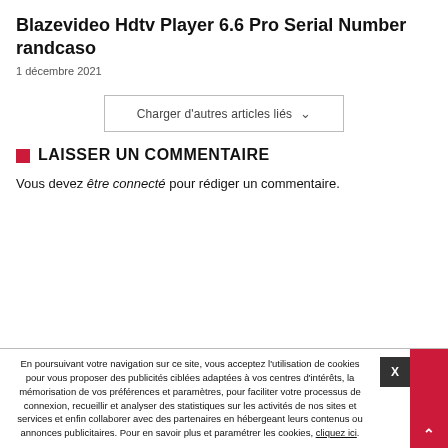Blazevideo Hdtv Player 6.6 Pro Serial Number randcaso
1 décembre 2021
Charger d'autres articles liés ∨
LAISSER UN COMMENTAIRE
Vous devez être connecté pour rédiger un commentaire.
En poursuivant votre navigation sur ce site, vous acceptez l'utilisation de cookies pour vous proposer des publicités ciblées adaptées à vos centres d'intérêts, la mémorisation de vos préférences et paramètres, pour faciliter votre processus de connexion, recueillir et analyser des statistiques sur les activités de nos sites et services et enfin collaborer avec des partenaires en hébergeant leurs contenus ou annonces publicitaires. Pour en savoir plus et paramétrer les cookies, cliquez ici.